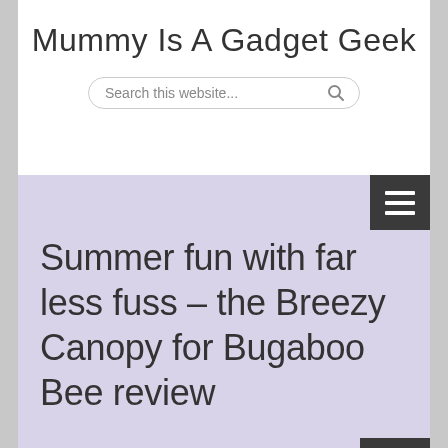Mummy Is A Gadget Geek
[Figure (screenshot): Search bar with placeholder text 'Search this website...' and a search icon on the right, styled with rounded pill border.]
Summer fun with far less fuss – the Breezy Canopy for Bugaboo Bee review